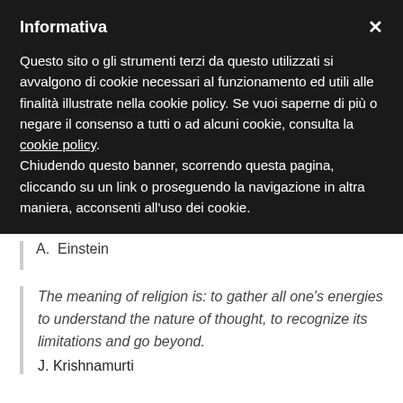Informativa
Questo sito o gli strumenti terzi da questo utilizzati si avvalgono di cookie necessari al funzionamento ed utili alle finalità illustrate nella cookie policy. Se vuoi saperne di più o negare il consenso a tutti o ad alcuni cookie, consulta la cookie policy.
Chiudendo questo banner, scorrendo questa pagina, cliccando su un link o proseguendo la navigazione in altra maniera, acconsenti all'uso dei cookie.
A.  Einstein
The meaning of religion is: to gather all one's energies to understand the nature of thought, to recognize its limitations and go beyond.
J. Krishnamurti
Let's imagine that life is like the ocean, and each individual is a wave. Just as human beings identify themselves with the body and tend to look